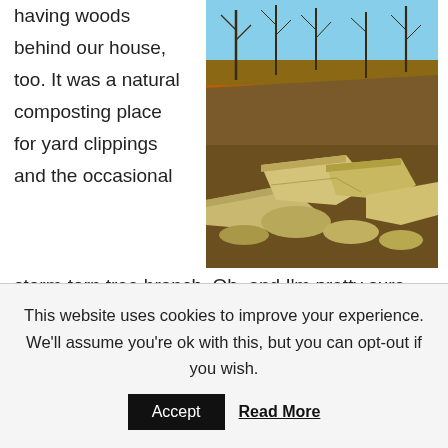having woods behind our house, too. It was a natural composting place for yard clippings and the occasional storm-torn tree branch. Oh, and I'm pretty sure the boys threw close to a ton of dog poop back there over the course of the lives of five dogs! I remember watching my
[Figure (photo): Outdoor photo showing a pile of large limestone rocks in the foreground with bare winter trees and a hillside under construction in the background under a blue sky.]
This website uses cookies to improve your experience. We'll assume you're ok with this, but you can opt-out if you wish.
Accept
Read More